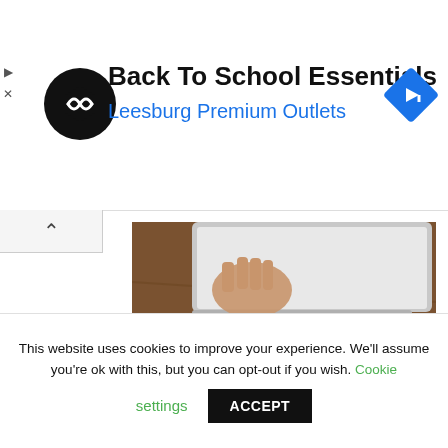[Figure (logo): Black circle logo with overlapping diamond arrow shapes in white (infinity/loop style icon)]
Back To School Essentials
Leesburg Premium Outlets
[Figure (illustration): Blue diamond-shaped navigation/directions icon with white right-arrow]
[Figure (photo): Photo of hands typing on a laptop keyboard on a wooden desk with a glass of iced coffee nearby]
PC Windows Installation
This website uses cookies to improve your experience. We'll assume you're ok with this, but you can opt-out if you wish. Cookie settings
ACCEPT